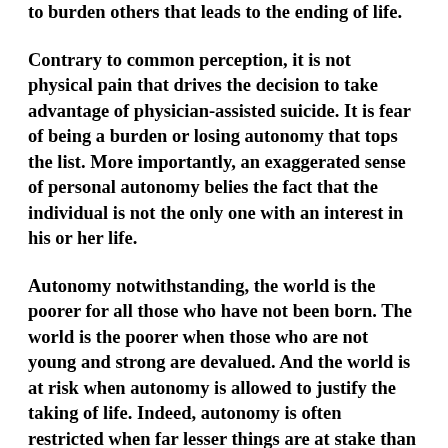to burden others that leads to the ending of life.
Contrary to common perception, it is not physical pain that drives the decision to take advantage of physician-assisted suicide. It is fear of being a burden or losing autonomy that tops the list. More importantly, an exaggerated sense of personal autonomy belies the fact that the individual is not the only one with an interest in his or her life.
Autonomy notwithstanding, the world is the poorer for all those who have not been born. The world is the poorer when those who are not young and strong are devalued. And the world is at risk when autonomy is allowed to justify the taking of life. Indeed, autonomy is often restricted when far lesser things are at stake than life itself.